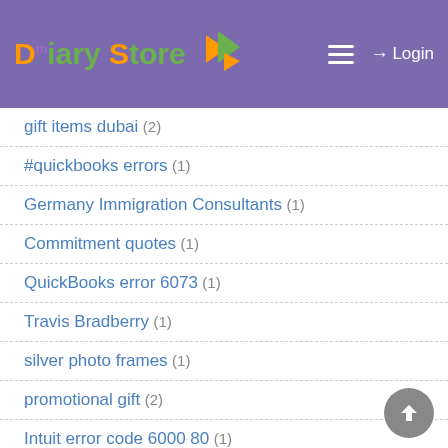Diary Store
gift items dubai (2)
#quickbooks errors (1)
Germany Immigration Consultants (1)
Commitment quotes (1)
QuickBooks error 6073 (1)
Travis Bradberry (1)
silver photo frames (1)
promotional gift (2)
Intuit error code 6000 80 (1)
#quickbooks abs pdf driver (1)
Error Code H505 QuickBooks (1)
TD Bank QuickBooks Error OL-301 (1)
#turbotax error code 42016 (1)